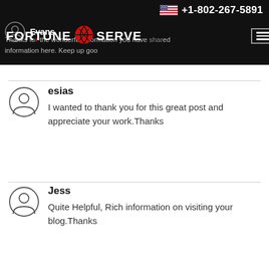Fortune Serve — +1-802-267-5891 — Evans comment header
esias
I wanted to thank you for this great post and appreciate your work.Thanks
Jess
Quite Helpful, Rich information on visiting your blog.Thanks